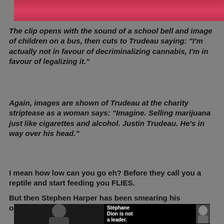[Figure (photo): Top image with red/pink background, partially visible at top of page]
The clip opens with the sound of a school bell and image of children on a bus, then cuts to Trudeau saying: "I'm actually not in favour of decriminalizing cannabis, I'm in favour of legalizing it."
Again, images are shown of Trudeau at the charity striptease as a woman says: "Imagine. Selling marijuana just like cigarettes and alcohol. Justin Trudeau. He's in way over his head."
I mean how low can you go eh? Before they call you a reptile and start feeding you FLIES.
But then Stephen Harper has been smearing his opponents from the moment he came to power...
[Figure (screenshot): Bottom image showing a political attack ad with Stephane Dion — black background, grayscale figure on left, text 'Stephane Dion is not a leader.' on right with a photo of Dion]